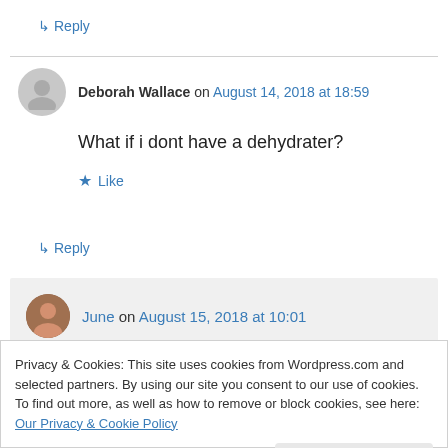↳ Reply
Deborah Wallace on August 14, 2018 at 18:59
What if i dont have a dehydrater?
★ Like
↳ Reply
June on August 15, 2018 at 10:01
Privacy & Cookies: This site uses cookies from Wordpress.com and selected partners. By using our site you consent to our use of cookies. To find out more, as well as how to remove or block cookies, see here: Our Privacy & Cookie Policy
Close and accept